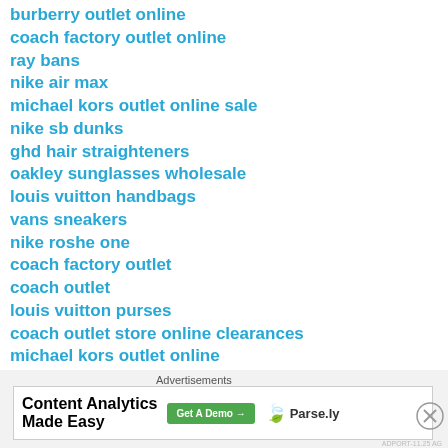burberry outlet online
coach factory outlet online
ray bans
nike air max
michael kors outlet online sale
nike sb dunks
ghd hair straighteners
oakley sunglasses wholesale
louis vuitton handbags
vans sneakers
nike roshe one
coach factory outlet
coach outlet
louis vuitton purses
coach outlet store online clearances
michael kors outlet online
cheap air jordans
michael kors outlet
Advertisements
[Figure (screenshot): Advertisement banner for Content Analytics Made Easy by Parse.ly with a Get A Demo button]